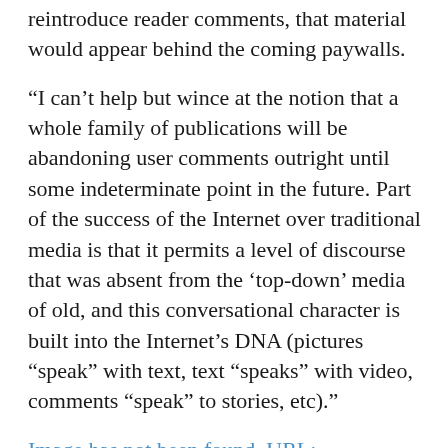reintroduce reader comments, that material would appear behind the coming paywalls.
“I can’t help but wince at the notion that a whole family of publications will be abandoning user comments outright until some indeterminate point in the future. Part of the success of the Internet over traditional media is that it permits a level of discourse that was absent from the ‘top-down’ media of old, and this conversational character is built into the Internet’s DNA (pictures “speak” with text, text “speaks” with video, comments “speak” to stories, etc).”
Image has not been found. URL: http://images.coloradoindependent.com/mcmountain-news1-300x258.jpg